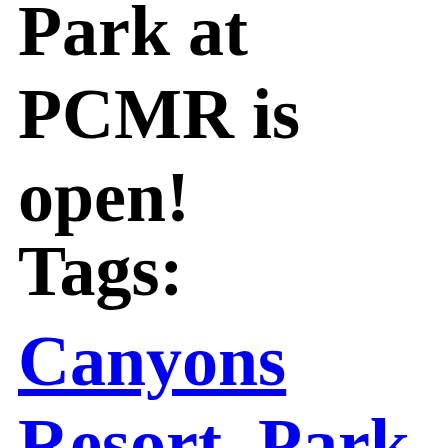Park at PCMR is open!
Tags:
Canyons Resort, Park City, Free